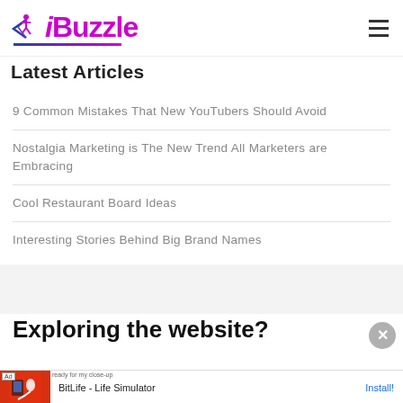iBuzzle
Latest Articles
9 Common Mistakes That New YouTubers Should Avoid
Nostalgia Marketing is The New Trend All Marketers are Embracing
Cool Restaurant Board Ideas
Interesting Stories Behind Big Brand Names
Exploring the website?
[Figure (screenshot): Advertisement banner for BitLife - Life Simulator app with red background and app icon, showing 'Ad' label, app name 'BitLife - Life Simulator' and Install button]